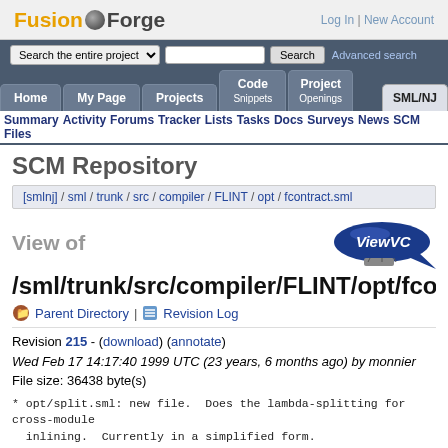FusionForge — Log In | New Account
[Figure (logo): FusionForge logo with orange Fusion text, gear icon, and grey Forge text]
Search the entire project [dropdown] [search box] Search  Advanced search
Home | My Page | Projects | Code Snippets | Project Openings | SML/NJ
Summary Activity Forums Tracker Lists Tasks Docs Surveys News SCM Files
SCM Repository
[smlnj] / sml / trunk / src / compiler / FLINT / opt / fcontract.sml
View of
[Figure (logo): ViewVC blimp logo]
/sml/trunk/src/compiler/FLINT/opt/fcont
Parent Directory | Revision Log
Revision 215 - (download) (annotate)
Wed Feb 17 14:17:40 1999 UTC (23 years, 6 months ago) by monnier
File size: 36438 byte(s)
* opt/split.sml: new file.  Does the lambda-splitting for cross-module
  inlining.  Currently in a simplified form.
* opt/fcontract.sml (fcEta): bug with (mutually) recursive eta